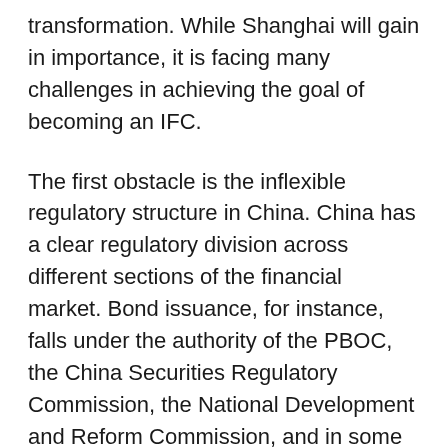transformation. While Shanghai will gain in importance, it is facing many challenges in achieving the goal of becoming an IFC.
The first obstacle is the inflexible regulatory structure in China. China has a clear regulatory division across different sections of the financial market. Bond issuance, for instance, falls under the authority of the PBOC, the China Securities Regulatory Commission, the National Development and Reform Commission, and in some cases, the China Banking Regulatory Commission, the State-owned Assets Supervision and Administration Commission or the China Insurance Regulatory Commission.
So far Shanghai has not been granted the authority to enact